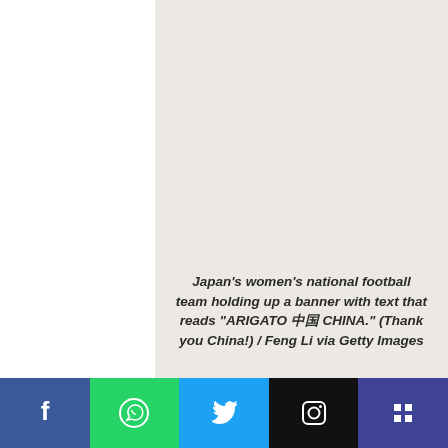[Figure (photo): Light gray/beige background area representing a photo of Japan's women's national football team holding up a banner]
Japan's women's national football team holding up a banner with text that reads "ARIGATO 中国 CHINA." (Thank you China!) / Feng Li via Getty Images
With another less-than-ideal result in another major international competition, Japan turned towards
[Figure (other): Social media sharing bar with Facebook (blue), WhatsApp (green), Twitter (light blue), Instagram (black), and menu (dark blue) buttons]